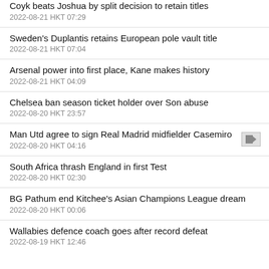Coyk beats Joshua by split decision to retain titles
2022-08-21 HKT 07:29
Sweden's Duplantis retains European pole vault title
2022-08-21 HKT 07:04
Arsenal power into first place, Kane makes history
2022-08-21 HKT 04:09
Chelsea ban season ticket holder over Son abuse
2022-08-20 HKT 23:57
Man Utd agree to sign Real Madrid midfielder Casemiro
2022-08-20 HKT 04:16
South Africa thrash England in first Test
2022-08-20 HKT 02:30
BG Pathum end Kitchee's Asian Champions League dream
2022-08-20 HKT 00:06
Wallabies defence coach goes after record defeat
2022-08-19 HKT 12:46